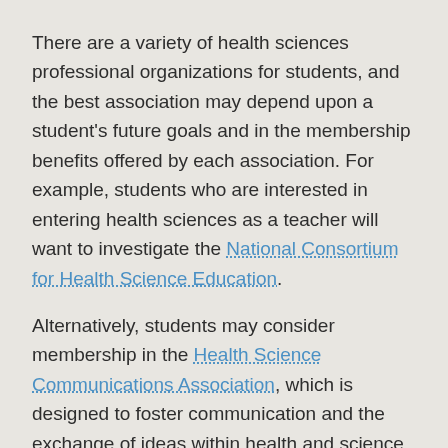There are a variety of health sciences professional organizations for students, and the best association may depend upon a student's future goals and in the membership benefits offered by each association. For example, students who are interested in entering health sciences as a teacher will want to investigate the National Consortium for Health Science Education.
Alternatively, students may consider membership in the Health Science Communications Association, which is designed to foster communication and the exchange of ideas within health and science. Depending upon a student's final goals for job title, other generalized health associations exist which may be of value like the Academy of Nutrition and Dietetics and the American College of Healthcare Executives.
Further Recommended Reading and Associations...